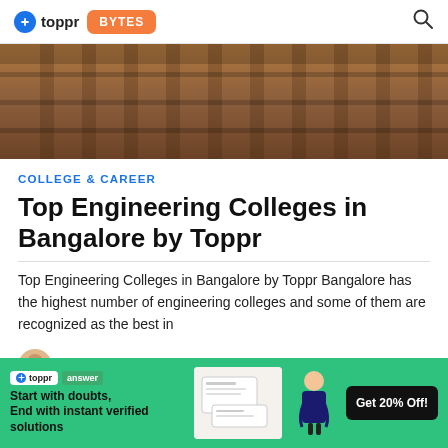toppr BYTES
[Figure (photo): Photo of wooden lecture hall benches/seats viewed from above at an angle, warm brown tones]
COLLEGE & CAREER
Top Engineering Colleges in Bangalore by Toppr
Top Engineering Colleges in Bangalore by Toppr Bangalore has the highest number of engineering colleges and some of them are recognized as the best in
Anmol Thakkar   April 25th, 2019
[Figure (infographic): Toppr Answer advertisement banner: green background, toppr answer logo, text 'Start with doubts, End with instant verified solutions', student girl illustration, 'Get 20% Off!' button]